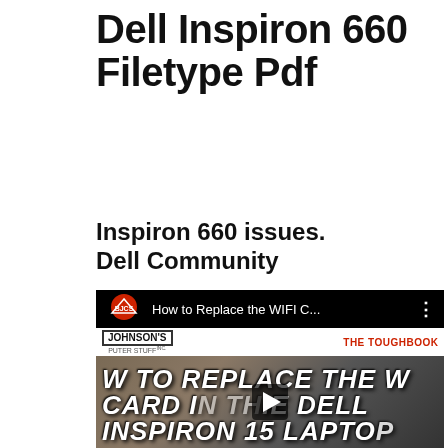Dell Inspiron 660 Filetype Pdf
Inspiron 660 issues. Dell Community
[Figure (screenshot): YouTube video thumbnail showing 'How to Replace the WIFI C...' with BJCS/Johnson's Computer Stuff channel branding, overlaid text reading 'HOW TO REPLACE THE WIFI CARD IN THE DELL INSPIRON 15 LAPTOP' with a play button in the center]